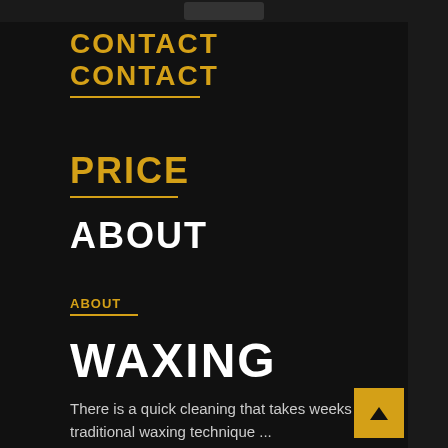CONTACT
PRICE
ABOUT
ABOUT
WAXING
There is a quick cleaning that takes weeks in the traditional waxing technique ...